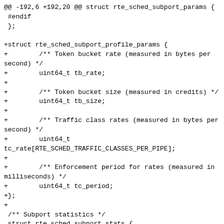@@ -192,6 +192,20 @@ struct rte_sched_subport_params {
 #endif
 };

+struct rte_sched_subport_profile_params {
+        /** Token bucket rate (measured in bytes per second) */
+        uint64_t tb_rate;
+
+        /** Token bucket size (measured in credits) */
+        uint64_t tb_size;
+
+        /** Traffic class rates (measured in bytes per second) */
+        uint64_t
tc_rate[RTE_SCHED_TRAFFIC_CLASSES_PER_PIPE];
+
+        /** Enforcement period for rates (measured in milliseconds) */
+        uint64_t tc_period;
+};
+
 /** Subport statistics */
 struct rte_sched_subport_stats {
         /** Number of packets successfully written */
 @@ -254,6 +268,17 @@ struct rte_sched_port_params {
         /** Number of subports */
         uint32_t n_subports_per_port;

+        /** subport profile table.